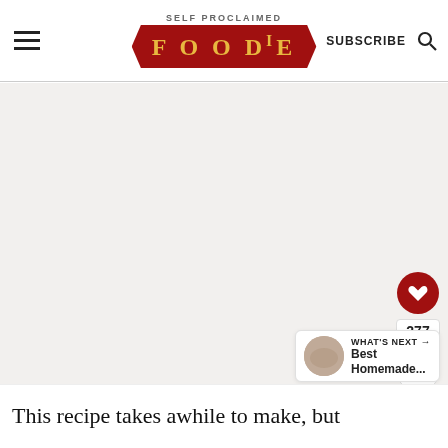SELF PROCLAIMED FOODIE | SUBSCRIBE
[Figure (photo): Large food/recipe photo area, light gray placeholder]
277
WHAT'S NEXT → Best Homemade...
This recipe takes awhile to make, but